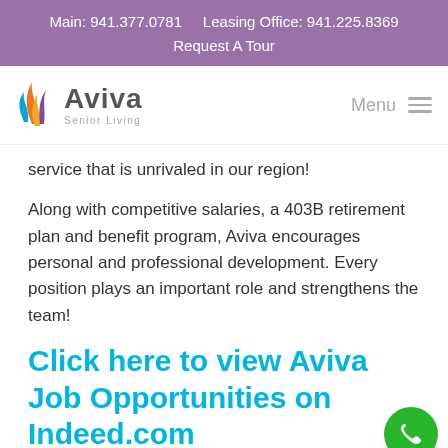Main: 941.377.0781    Leasing Office: 941.225.8369
Request A Tour
[Figure (logo): Aviva Senior Living logo with colorful flame/leaf icon]
service that is unrivaled in our region!
Along with competitive salaries, a 403B retirement plan and benefit program, Aviva encourages personal and professional development. Every position plays an important role and strengthens the team!
Click here to view Aviva Job Opportunities on Indeed.com